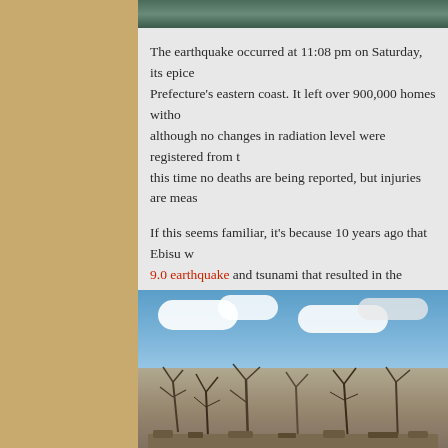[Figure (photo): Top portion of an aerial or ground-level photo, partially visible at top of page]
The earthquake occurred at 11:08 pm on Saturday, its epicenter off Prefecture's eastern coast. It left over 900,000 homes without power, although no changes in radiation level were registered from this time no deaths are being reported, but injuries are measured.
If this seems familiar, it's because 10 years ago that Ebisu w 9.0 earthquake and tsunami that resulted in the Fukushima nuclear tremor is, mind-blowingly, believed to have been an aftershock decade in the making.
[Figure (photo): Photo showing blue sky with white clouds above a debris field with bare, damaged trees in the foreground, consistent with earthquake/tsunami aftermath]